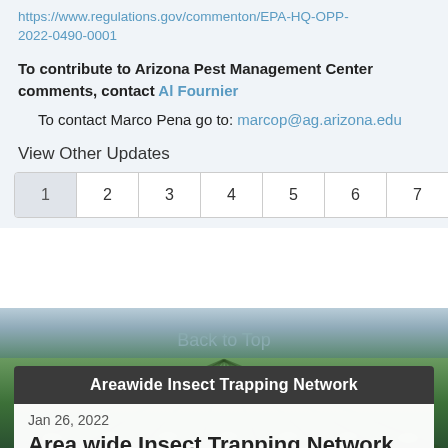https://www.regulations.gov/commenton/EPA-HQ-OPP-2022-0490-0001
To contribute to Arizona Pest Management Center comments, contact Al Fournier
To contact Marco Pena go to: marcop@ag.arizona.edu
View Other Updates
1 2 3 4 5 6 7 8 9 10 »
Back to Top
[Figure (photo): Aerial view of agricultural crop rows/field]
Areawide Insect Trapping Network
Jan 26, 2022
Area wide Insect Trapping Network